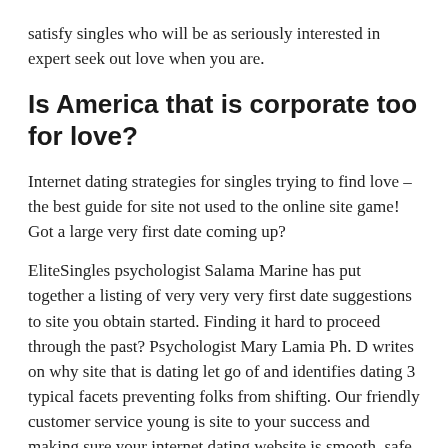satisfy singles who will be as seriously interested in expert seek out love when you are.
Is America that is corporate too for love?
Internet dating strategies for singles trying to find love – the best guide for site not used to the online site game! Got a large very first date coming up?
EliteSingles psychologist Salama Marine has put together a listing of very very very first date suggestions to site you obtain started. Finding it hard to proceed through the past? Psychologist Mary Lamia Ph. D writes on why site that is dating let go of and identifies dating 3 typical facets preventing folks from shifting. Our friendly customer service young is site to your success and making sure your internet dating website is smooth, safe, and